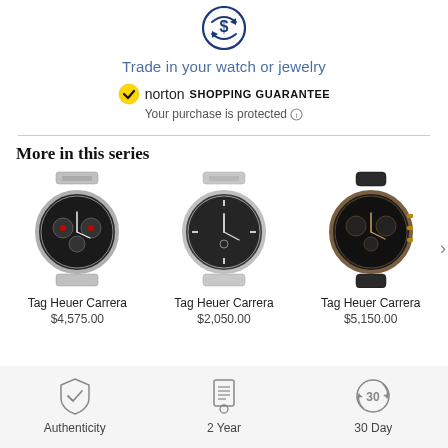[Figure (illustration): Blue circular trade/exchange icon with dollar sign and arrows]
Trade in your watch or jewelry
[Figure (logo): Norton Shopping Guarantee badge with yellow checkmark circle, norton wordmark, and 'SHOPPING GUARANTEE' text. Subtext: Your purchase is protected (i)]
More in this series
[Figure (photo): Tag Heuer Carrera watch with chronograph black dial and silver bracelet]
Tag Heuer Carrera
$4,575.00
[Figure (photo): Tag Heuer Carrera watch with plain black dial and silver bracelet]
Tag Heuer Carrera
$2,050.00
[Figure (photo): Tag Heuer Carrera watch with chronograph black dial and black leather strap with rose gold accents]
Tag Heuer Carrera
$5,150.00
[Figure (illustration): Shield with checkmark icon - Authenticity]
Authenticity
[Figure (illustration): Certificate/document icon - 2 Year]
2 Year
[Figure (illustration): Circle with 30 and arrows - 30 Day]
30 Day